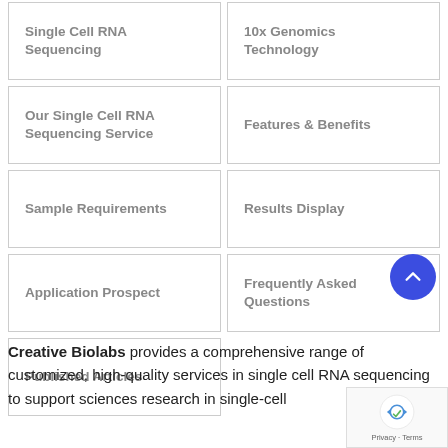Single Cell RNA Sequencing
10x Genomics Technology
Our Single Cell RNA Sequencing Service
Features & Benefits
Sample Requirements
Results Display
Application Prospect
Frequently Asked Questions
Published Articles
Creative Biolabs provides a comprehensive range of customized, high-quality services in single cell RNA sequencing to support sciences research in single-cell